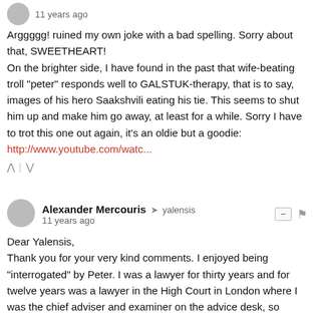[Figure (other): User avatar (grey circle) with timestamp '11 years ago']
Arggggg! ruined my own joke with a bad spelling. Sorry about that, SWEETHEART!
On the brighter side, I have found in the past that wife-beating troll "peter" responds well to GALSTUK-therapy, that is to say, images of his hero Saakshvili eating his tie. This seems to shut him up and make him go away, at least for a while. Sorry I have to trot this one out again, it's an oldie but a goodie:
http://www.youtube.com/watc...
^ | v
[Figure (other): User avatar (grey circle) for Alexander Mercouris]
Alexander Mercouris → yalensis
11 years ago
Dear Yalensis,
Thank you for your very kind comments. I enjoyed being "interrogated" by Peter. I was a lawyer for thirty years and for twelve years was a lawyer in the High Court in London where I was the chief adviser and examiner on the advice desk, so "interrogations" are something I should know about.
^ | v